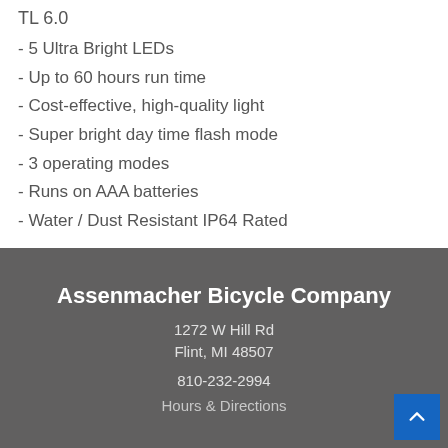TL 6.0
- 5 Ultra Bright LEDs
- Up to 60 hours run time
- Cost-effective, high-quality light
- Super bright day time flash mode
- 3 operating modes
- Runs on AAA batteries
- Water / Dust Resistant IP64 Rated
Assenmacher Bicycle Company
1272 W Hill Rd
Flint, MI 48507
810-232-2994
Hours & Directions